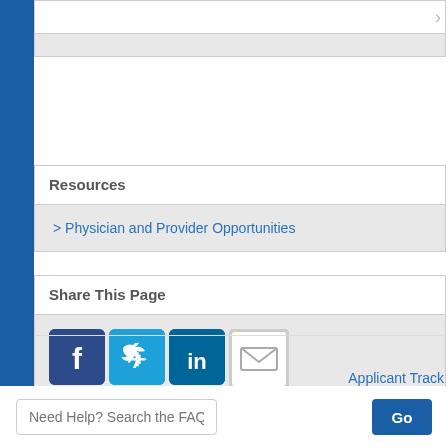Resources
> Physician and Provider Opportunities
Share This Page
[Figure (infographic): Social sharing icons: Facebook (blue square with F), Twitter (light blue square with bird), LinkedIn (dark blue square with in), Email (white envelope icon)]
Applicant Track
Need Help? Search the FAQ here
Go